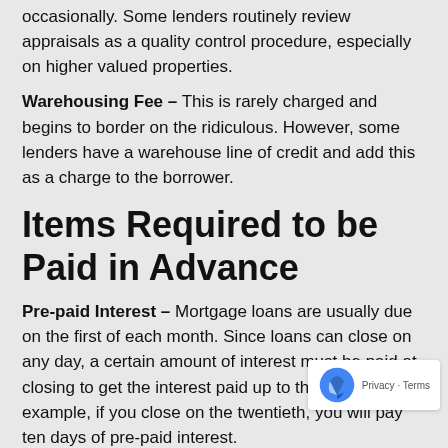occasionally. Some lenders routinely review appraisals as a quality control procedure, especially on higher valued properties.
Warehousing Fee – This is rarely charged and begins to border on the ridiculous. However, some lenders have a warehouse line of credit and add this as a charge to the borrower.
Items Required to be Paid in Advance
Pre-paid Interest – Mortgage loans are usually due on the first of each month. Since loans can close on any day, a certain amount of interest must be paid at closing to get the interest paid up to the first. For example, if you close on the twentieth, you will pay ten days of pre-paid interest.
Homeowner's Insurance – This is the insurance you pay to